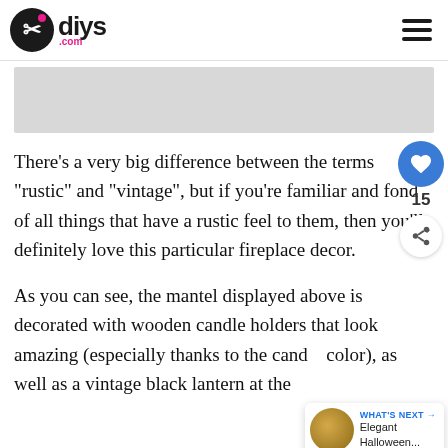diys.com
[Figure (photo): Gray image placeholder area (partially visible photo)]
There’s a very big difference between the terms “rustic” and “vintage”, but if you’re familiar and fond of all things that have a rustic feel to them, then you’ll definitely love this particular fireplace decor.
As you can see, the mantel displayed above is decorated with wooden candle holders that look amazing (especially thanks to the candle color), as well as a vintage black lantern at the